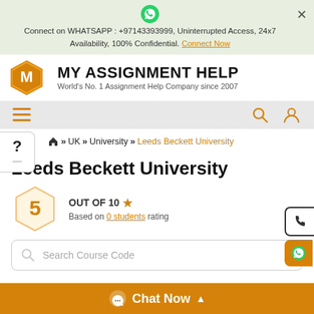[Figure (screenshot): WhatsApp green circle icon at top of banner]
Connect on WHATSAPP : +97143393999, Uninterrupted Access, 24x7 Availability, 100% Confidential. Connect Now
[Figure (logo): My Assignment Help logo with orange hexagon M and bold text MY ASSIGNMENT HELP, subtitle: World's No. 1 Assignment Help Company since 2007]
[Figure (infographic): Navigation bar with hamburger menu icon (orange lines), search icon, and user icon]
[Figure (infographic): Help button with question mark on left side]
Home » UK » University » Leeds Beckett University
Leeds Beckett University
5 OUT OF 10 ★ Based on 0 students rating
Search Course Code
Chat Now